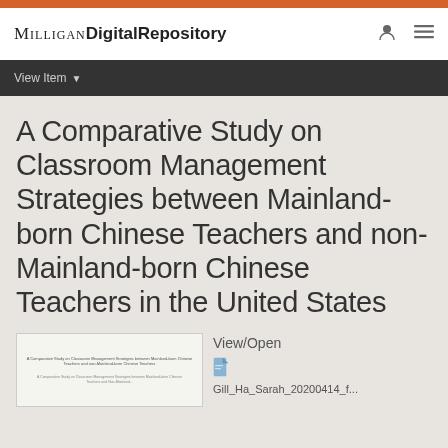Milligan Digital Repository
View Item
A Comparative Study on Classroom Management Strategies between Mainland-born Chinese Teachers and non-Mainland-born Chinese Teachers in the United States
[Figure (other): Thumbnail preview of the document]
View/Open